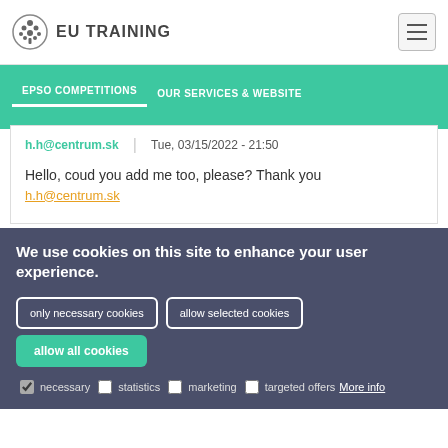[Figure (logo): EU Training logo with tree icon and text EU TRAINING]
EPSO COMPETITIONS | OUR SERVICES & WEBSITE
h.h@centrum.sk   Tue, 03/15/2022 - 21:50
Hello, coud you add me too, please? Thank you
h.h@centrum.sk
We use cookies on this site to enhance your user experience.
only necessary cookies   allow selected cookies   allow all cookies
necessary  statistics  marketing  targeted offers  More info